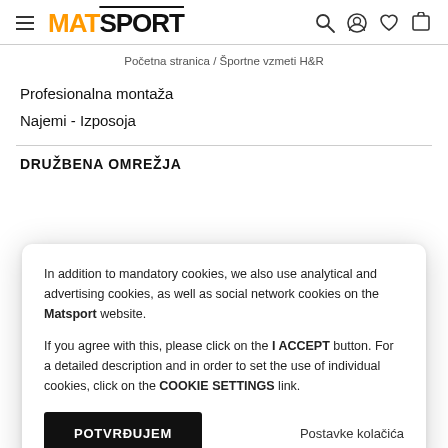MATSPORT
Početna stranica / Športne vzmeti H&R
Profesionalna montaža
Najemi - Izposoja
DRUŽBENA OMREŽJA
In addition to mandatory cookies, we also use analytical and advertising cookies, as well as social network cookies on the Matsport website.

If you agree with this, please click on the I ACCEPT button. For a detailed description and in order to set the use of individual cookies, click on the COOKIE SETTINGS link.
POTVRĐUJEM
Postavke kolačića